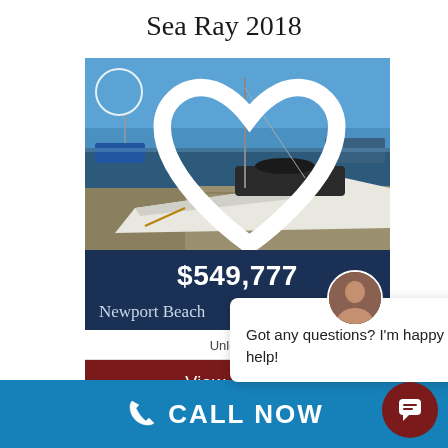Sea Ray 2018
[Figure (photo): 2018 Sea Ray boat docked at a marina in Newport Beach, CA. White boat on blue water with dock visible.]
$549,777
Newport Beach
Unleaded
View Details
Got any questions? I'm happy to help!
CALL NOW